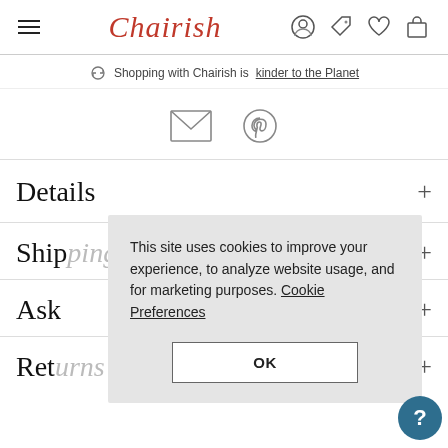Chairish — navigation bar with hamburger menu, logo, and icons
Shopping with Chairish is kinder to the Planet
[Figure (other): Email and Pinterest share icons]
Details
Shipping Options
Ask
Returns & Cancellations
This site uses cookies to improve your experience, to analyze website usage, and for marketing purposes. Cookie Preferences
OK